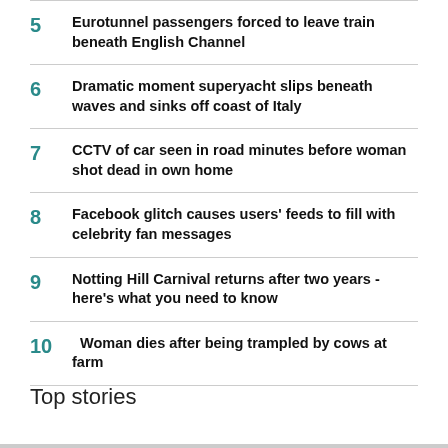5 Eurotunnel passengers forced to leave train beneath English Channel
6 Dramatic moment superyacht slips beneath waves and sinks off coast of Italy
7 CCTV of car seen in road minutes before woman shot dead in own home
8 Facebook glitch causes users' feeds to fill with celebrity fan messages
9 Notting Hill Carnival returns after two years - here's what you need to know
10 Woman dies after being trampled by cows at farm
Top stories